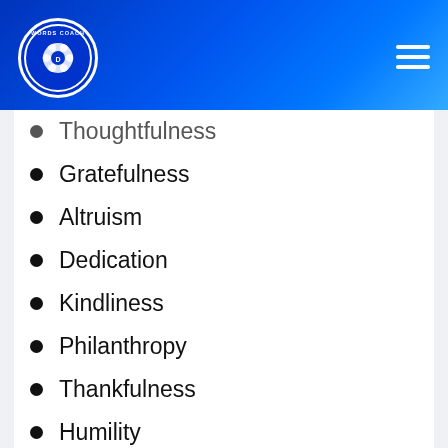[Figure (logo): Words Coach logo — circular badge with camera aperture icon and text 'WORDS COACH D' on blue background]
Thoughtfulness
Gratefulness
Altruism
Dedication
Kindliness
Philanthropy
Thankfulness
Humility
Liberality
Devotion